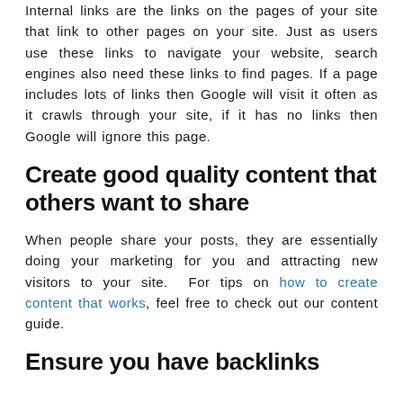Internal links are the links on the pages of your site that link to other pages on your site. Just as users use these links to navigate your website, search engines also need these links to find pages. If a page includes lots of links then Google will visit it often as it crawls through your site, if it has no links then Google will ignore this page.
Create good quality content that others want to share
When people share your posts, they are essentially doing your marketing for you and attracting new visitors to your site. For tips on how to create content that works, feel free to check out our content guide.
Ensure you have backlinks